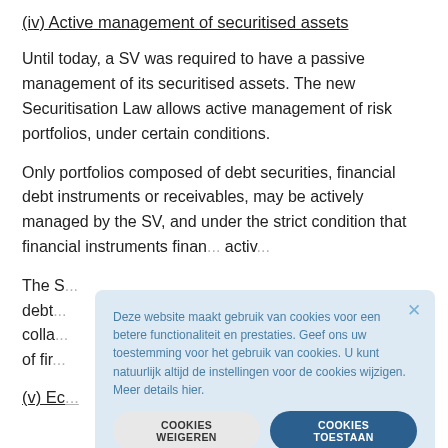(iv) Active management of securitised assets
Until today, a SV was required to have a passive management of its securitised assets. The new Securitisation Law allows active management of risk portfolios, under certain conditions.
Only portfolios composed of debt securities, financial debt instruments or receivables, may be actively managed by the SV, and under the strict condition that financial instruments finan... activ...
The S... debt... colla... of fir...
(v) Ec...